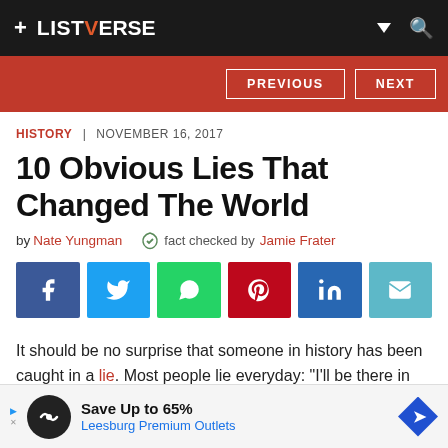+ LISTVERSE
HISTORY | NOVEMBER 16, 2017
10 Obvious Lies That Changed The World
by Nate Yungman  fact checked by Jamie Frater
[Figure (infographic): Social share buttons: Facebook, Twitter, WhatsApp, Pinterest, LinkedIn, Email]
It should be no surprise that someone in history has been caught in a lie. Most people lie everyday: "I'll be there in five." "I read the terms and conditions." "You do look good in thos
[Figure (infographic): Advertisement banner: Save Up to 65% - Leesburg Premium Outlets]